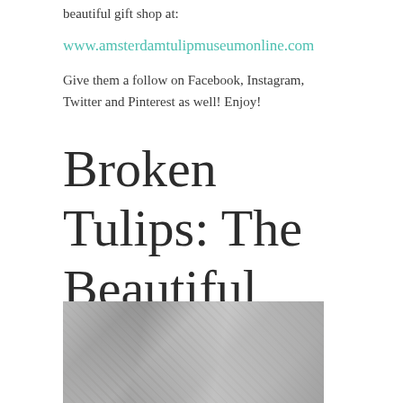beautiful gift shop at:
www.amsterdamtulipmuseumonline.com
Give them a follow on Facebook, Instagram, Twitter and Pinterest as well!  Enjoy!
Broken Tulips: The Beautiful Curse
October 20, 2017
[Figure (photo): Close-up photograph of tulips wrapped in transparent plastic, showing crumpled cellophane around flower stems]